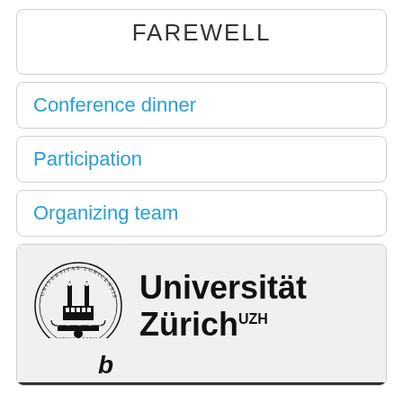FAREWELL
Conference dinner
Participation
Organizing team
[Figure (logo): Universität Zürich UZH logo with circular seal showing Grossmünster church and Latin text UNIVERSITAS TURICENSIS, MDCCC XXXIII]